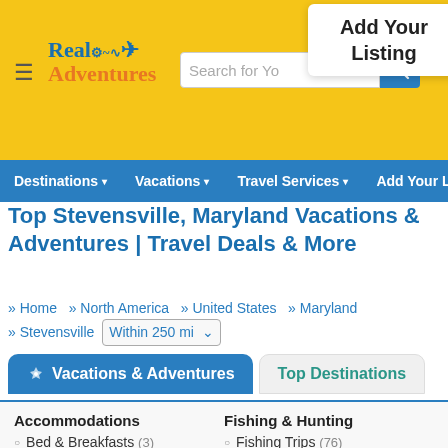Real Adventures – Search for Yo | Add Your Listing
Destinations ▾   Vacations ▾   Travel Services ▾   Add Your Li
Top Stevensville, Maryland Vacations & Adventures | Travel Deals & More
» Home » North America » United States » Maryland » Stevensville   Within 250 mi
Vacations & Adventures | Top Destinations
Accommodations
Bed & Breakfasts (3)
Campgrounds & RV Parks (21)
Hotels & Resorts (471)
Vacation Rentals (7)
Fishing & Hunting
Fishing Trips (76)
Hunting Trips (27)
Nature & Wildlife
Eco Tours (6)
Whale Watching (1)
+ See More